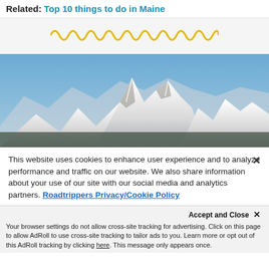Related: Top 10 things to do in Maine
[Figure (illustration): Yellow wavy/squiggly decorative divider line on light gray background]
[Figure (photo): Snow-capped mountain range (likely Grand Tetons) under a clear blue sky]
This website uses cookies to enhance user experience and to analyze performance and traffic on our website. We also share information about your use of our site with our social media and analytics partners. Roadtrippers Privacy/Cookie Policy
Accept and Close × Your browser settings do not allow cross-site tracking for advertising. Click on this page to allow AdRoll to use cross-site tracking to tailor ads to you. Learn more or opt out of this AdRoll tracking by clicking here. This message only appears once.